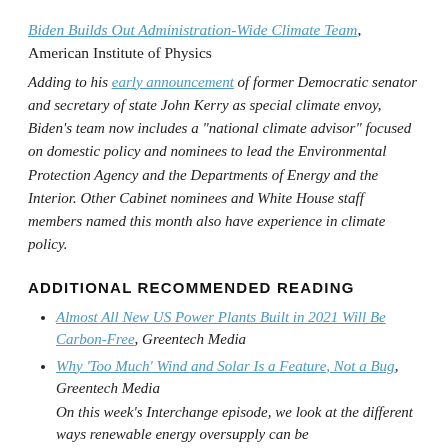Biden Builds Out Administration-Wide Climate Team, American Institute of Physics
Adding to his early announcement of former Democratic senator and secretary of state John Kerry as special climate envoy, Biden's team now includes a “national climate advisor” focused on domestic policy and nominees to lead the Environmental Protection Agency and the Departments of Energy and the Interior. Other Cabinet nominees and White House staff members named this month also have experience in climate policy.
ADDITIONAL RECOMMENDED READING
Almost All New US Power Plants Built in 2021 Will Be Carbon-Free, Greentech Media
Why ‘Too Much’ Wind and Solar Is a Feature, Not a Bug, Greentech Media
On this week’s Interchange episode, we look at the different ways renewable energy oversupply can be